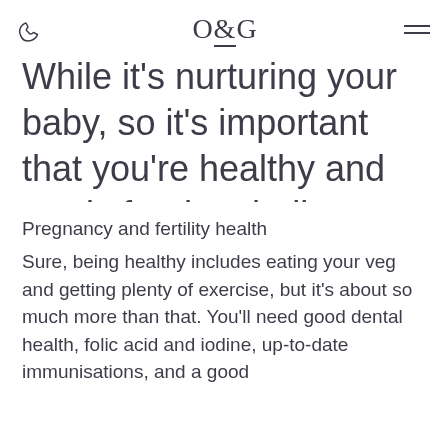O&G
While it's nurturing your baby, so it's important that you're healthy and ready for the challenge.
Pregnancy and fertility health
Sure, being healthy includes eating your veg and getting plenty of exercise, but it's about so much more than that. You'll need good dental health, folic acid and iodine, up-to-date immunisations, and a good